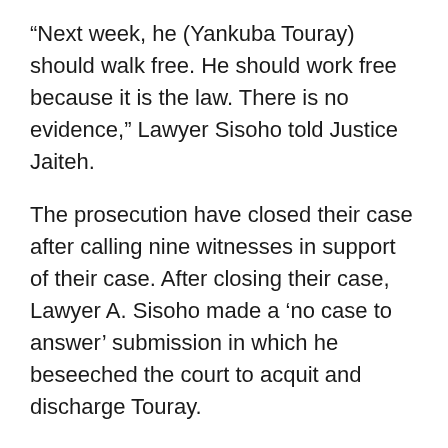“Next week, he (Yankuba Touray) should walk free. He should work free because it is the law. There is no evidence,” Lawyer Sisoho told Justice Jaiteh.
The prosecution have closed their case after calling nine witnesses in support of their case. After closing their case, Lawyer A. Sisoho made a ‘no case to answer’ submission in which he beseeched the court to acquit and discharge Touray.
Sisoho relied on the Constitution and other relevant laws to make the application for the court to acquit and discharge Mr. Touray. He said the ‘no case submission’ was made because the prosecution failed to prove essential elements of the alleged crime (murder). He added that the prosecution’s case was based on...